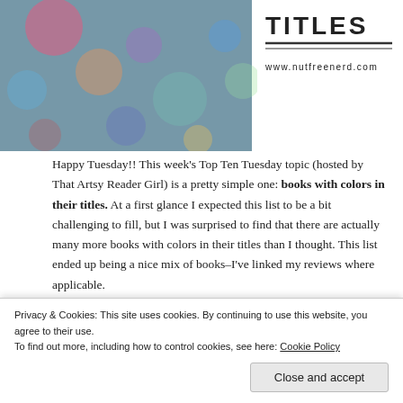[Figure (photo): Blog header image showing bokeh colorful lights background on the left, and a white card on the right with bold text 'TITLES' and horizontal lines and URL 'www.nutfreenerd.com']
Happy Tuesday!! This week's Top Ten Tuesday topic (hosted by That Artsy Reader Girl) is a pretty simple one: books with colors in their titles. At a first glance I expected this list to be a bit challenging to fill, but I was surprised to find that there are actually many more books with colors in their titles than I thought. This list ended up being a nice mix of books–I've linked my reviews where applicable.
1. Anne of Green Gables by L.M.
Privacy & Cookies: This site uses cookies. By continuing to use this website, you agree to their use.
To find out more, including how to control cookies, see here: Cookie Policy
Close and accept